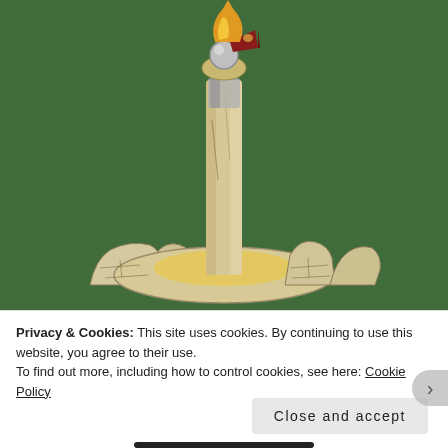[Figure (photo): Close-up photo of a miniature ceramic or resin olympic torch figurine with a flame at the top and a castle-like base, set against a green background (possibly a golf course or green felt).]
Privacy & Cookies: This site uses cookies. By continuing to use this website, you agree to their use.
To find out more, including how to control cookies, see here: Cookie Policy
Close and accept